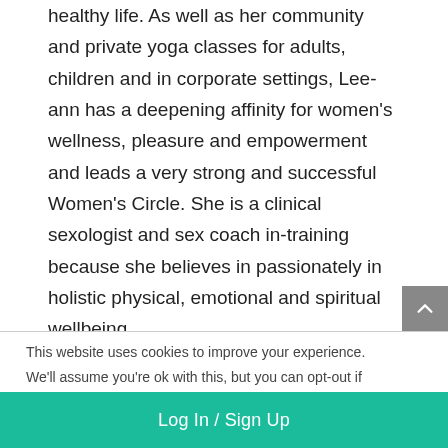healthy life. As well as her community and private yoga classes for adults, children and in corporate settings, Lee-ann has a deepening affinity for women's wellness, pleasure and empowerment and leads a very strong and successful Women's Circle. She is a clinical sexologist and sex coach in-training because she believes in passionately in holistic physical, emotional and spiritual wellbeing.
This website uses cookies to improve your experience. We'll assume you're ok with this, but you can opt-out if
Log In / Sign Up